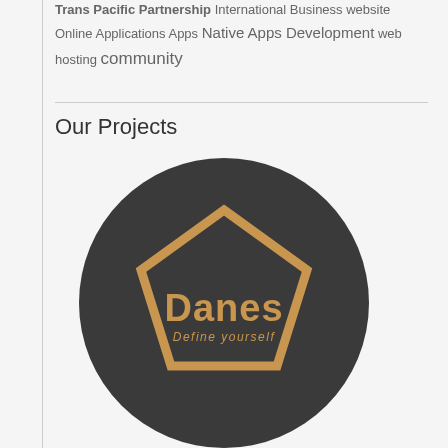Trans Pacific Partnership International Business website Online Applications Apps Native Apps Development web hosting community
Our Projects
[Figure (logo): Danes brand logo: dark circular background with a gold/tan pentagon outline containing the text 'Danes' in bold gold and 'Define yourself' in smaller italic gold text below.]